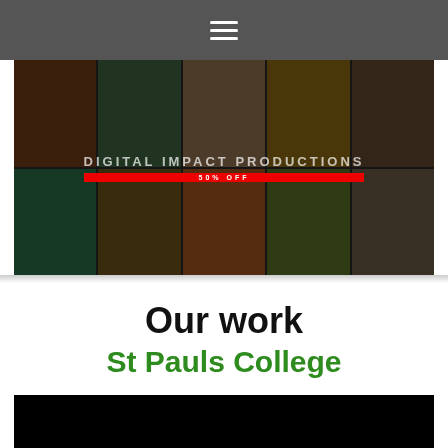Navigation menu (hamburger icon)
[Figure (screenshot): Hero banner image showing a grid of food and promotional digital media images with dark overlay, text reading DIGITAL IMPACT PRODUCTIONS and a red badge]
Our work
St Pauls College
[Figure (screenshot): Black video player area at bottom of page]